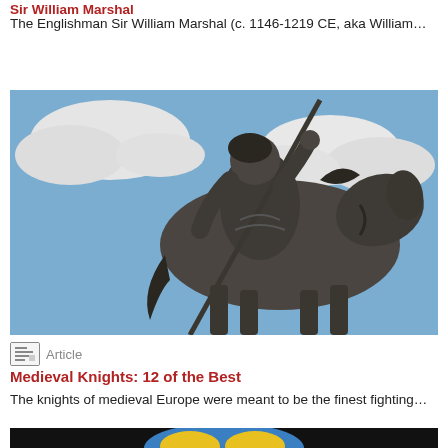Sir William Marshal
The Englishman Sir William Marshal (c. 1146-1219 CE, aka William…
[Figure (photo): Bronze equestrian statue of a warrior holding a lance, riding a horse against a blue sky with clouds]
Article
Medieval Knights: 12 of the Best
The knights of medieval Europe were meant to be the finest fighting…
[Figure (photo): Partial view of a colorful figure (blue and yellow costume) at the bottom of the page]